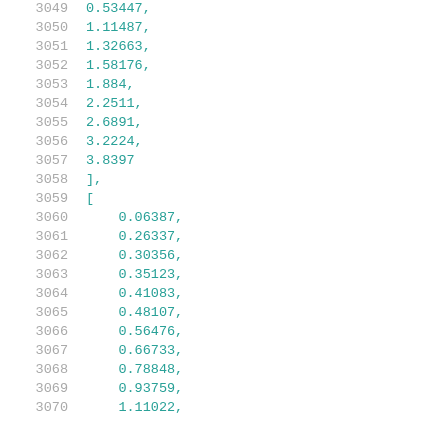3049    0.53447,
3050    1.11487,
3051    1.32663,
3052    1.58176,
3053    1.884,
3054    2.2511,
3055    2.6891,
3056    3.2224,
3057    3.8397
3058    ],
3059    [
3060    0.06387,
3061    0.26337,
3062    0.30356,
3063    0.35123,
3064    0.41083,
3065    0.48107,
3066    0.56476,
3067    0.66733,
3068    0.78848,
3069    0.93759,
3070    1.11022,